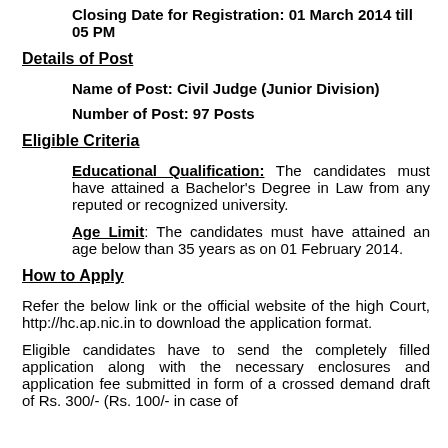Closing Date for Registration: 01 March 2014 till 05 PM
Details of Post
Name of Post: Civil Judge (Junior Division)
Number of Post: 97 Posts
Eligible Criteria
Educational Qualification: The candidates must have attained a Bachelor's Degree in Law from any reputed or recognized university.
Age Limit: The candidates must have attained an age below than 35 years as on 01 February 2014.
How to Apply
Refer the below link or the official website of the high Court, http://hc.ap.nic.in to download the application format.
Eligible candidates have to send the completely filled application along with the necessary enclosures and application fee submitted in form of a crossed demand draft of Rs. 300/- (Rs. 100/- in case of